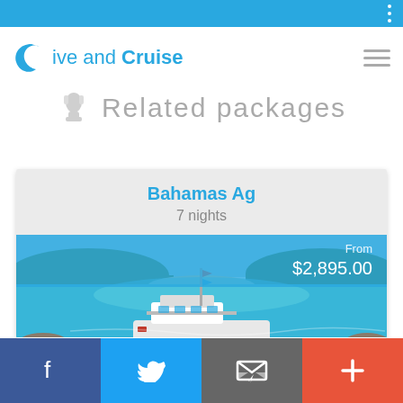Dive and Cruise
Related packages
Bahamas Ag
7 nights
From
$2,895.00
[Figure (photo): A dive/cruise boat in turquoise Bahamas waters with green islands in the background]
Facebook | Twitter | Email | Plus